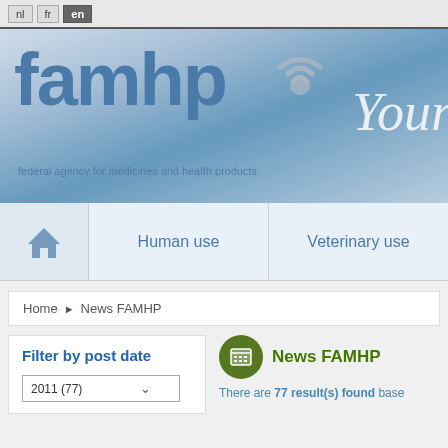nl fr en
[Figure (logo): FAMHP federal agency for medicines and health products logo with blue banner and 'Your' text visible at right]
Home | Human use | Veterinary use
Home ▶ News FAMHP
Filter by post date
2011 (77)
News FAMHP
There are 77 result(s) found based